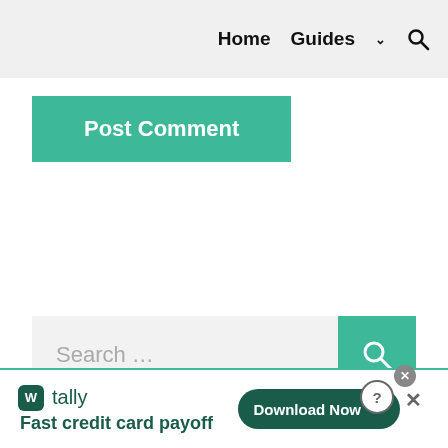Home  Guides  ∨  🔍
Post Comment
[Figure (screenshot): Search input field with teal search button]
[Figure (infographic): Tally app advertisement banner: Fast credit card payoff. Download Now button.]